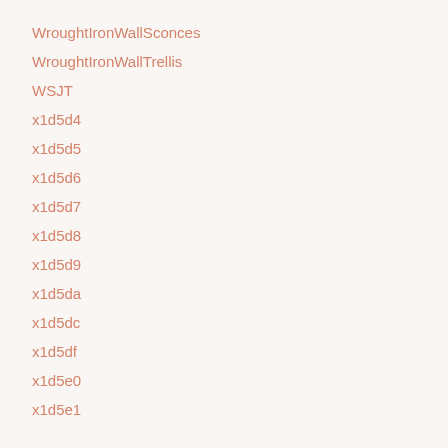WroughtIronWallSconces
WroughtIronWallTrellis
WSJT
x1d5d4
x1d5d5
x1d5d6
x1d5d7
x1d5d8
x1d5d9
x1d5da
x1d5dc
x1d5df
x1d5e0
x1d5e1